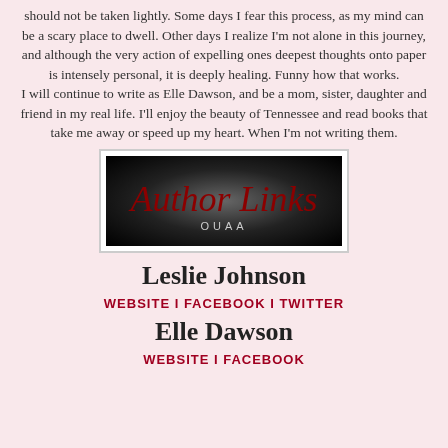should not be taken lightly. Some days I fear this process, as my mind can be a scary place to dwell. Other days I realize I'm not alone in this journey, and although the very action of expelling ones deepest thoughts onto paper is intensely personal, it is deeply healing. Funny how that works.
I will continue to write as Elle Dawson, and be a mom, sister, daughter and friend in my real life. I'll enjoy the beauty of Tennessee and read books that take me away or speed up my heart. When I'm not writing them.
[Figure (logo): Author Links OUAA logo — dark radial gradient background with red cursive script 'Author Links' and grey 'OUAA' text below]
Leslie Johnson
WEBSITE I FACEBOOK I TWITTER
Elle Dawson
WEBSITE I FACEBOOK